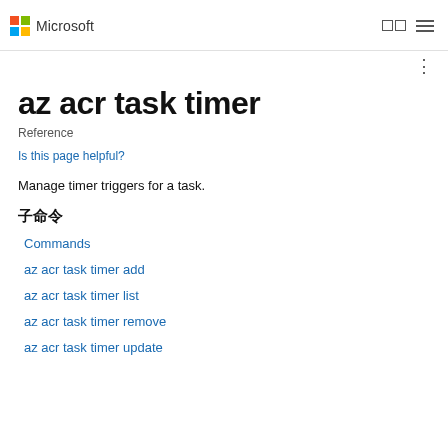Microsoft
az acr task timer
Reference
Is this page helpful?
Manage timer triggers for a task.
子命令
Commands
az acr task timer add
az acr task timer list
az acr task timer remove
az acr task timer update